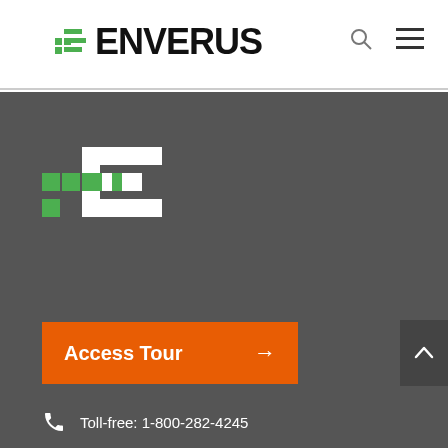[Figure (logo): Enverus logo in header — green dot-grid mark followed by bold black ENVERUS wordmark]
[Figure (logo): Enverus large white and green logo mark in dark footer section]
Access Tour →
Toll-free: 1-800-282-4245
2901 Vía Fortuna #200,